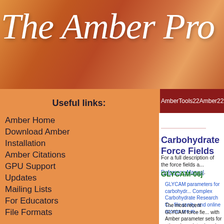The Amber Pro
AmberTools22   Amber22   Manu
Useful links:
Amber Home
Download Amber
Installation
Amber Citations
GPU Support
Updates
Mailing Lists
For Educators
File Formats
Carbohydrate Force Fields
For a full description of the force fields a... Reference Manual.
GLYCAM-06j
GLYCAM parameters for carbohydr... Complex Carbohydrate Research C... file sanity, and online access are m...
The most recent GLYCAM force fie... with Amber parameter sets for othe... been introduced.